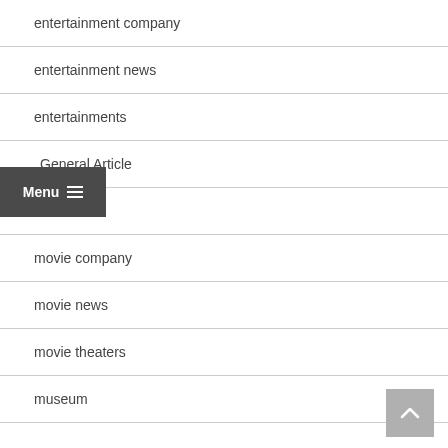entertainment company
entertainment news
entertainments
General Article
movie
movie company
movie news
movie theaters
museum